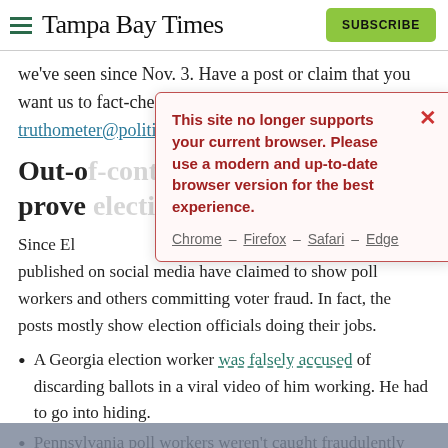Tampa Bay Times
we've seen since Nov. 3. Have a post or claim that you want us to fact-check? Send it to truthometer@politifact.com.
Out-of-context videos don't prove election fraud
[Figure (screenshot): Browser compatibility warning modal: 'This site no longer supports your current browser. Please use a modern and up-to-date browser version for the best experience.' with links to Chrome, Firefox, Safari, Edge and a close X button.]
Since El[ection Day, videos published on social media have claimed to show poll workers and others committing voter fraud. In fact, the posts mostly show election officials doing their jobs.
A Georgia election worker was falsely accused of discarding ballots in a viral video of him working. He had to go into hiding.
Pennsylvania poll workers weren't caught fraudulently